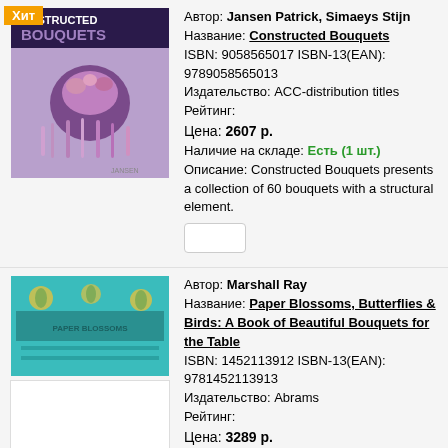[Figure (photo): Book cover for Constructed Bouquets showing purple floral arrangement with feathers, with yellow Хит badge]
Автор: Jansen Patrick, Simaeys Stijn
Название: Constructed Bouquets
ISBN: 9058565017 ISBN-13(EAN): 9789058565013
Издательство: ACC-distribution titles
Рейтинг:
Цена: 2607 р.
Наличие на складе: Есть (1 шт.)
Описание: Constructed Bouquets presents a collection of 60 bouquets with a structural element.
[Figure (photo): Book cover for Paper Blossoms showing teal/turquoise background with decorative elements]
Автор: Marshall Ray
Название: Paper Blossoms, Butterflies & Birds: A Book of Beautiful Bouquets for the Table
ISBN: 1452113912 ISBN-13(EAN): 9781452113913
Издательство: Abrams
Рейтинг:
Цена: 3289 р.
Наличие на складе: Поставка под заказ.
Описание: Like Paper Blossoms, this follow-up book doubles as a centrepiece featuring four breath-taking and unique pop-up floral arrangements.